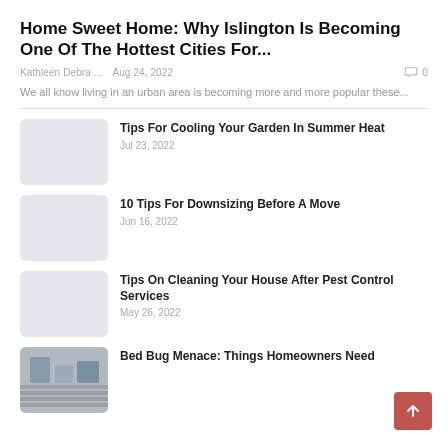Home Sweet Home: Why Islington Is Becoming One Of The Hottest Cities For...
Kathleen Debra ...   Aug 24, 2022   0
We all know living in an urban area is becoming more and more popular these...
Tips For Cooling Your Garden In Summer Heat
Jul 23, 2022
10 Tips For Downsizing Before A Move
Jun 16, 2022
Tips On Cleaning Your House After Pest Control Services
May 26, 2022
Bed Bug Menace: Things Homeowners Need